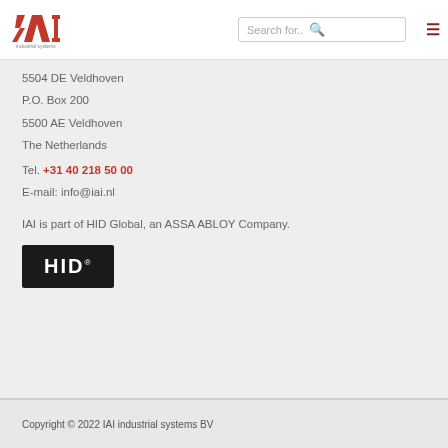[Figure (logo): IAI industrial systems logo in red, with text 'industrial systems' below]
Search for..
5504 DE Veldhoven
P.O. Box 200
5500 AE Veldhoven
The Netherlands
Tel. +31 40 218 50 00
E-mail: info@iai.nl
IAI is part of HID Global, an ASSA ABLOY Company.
[Figure (logo): HID logo in white text on black background]
Copyright © 2022 IAI industrial systems BV